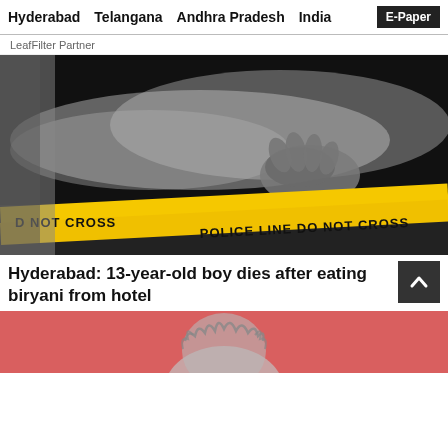Hyderabad  Telangana  Andhra Pradesh  India  E-Paper
LeafFilter Partner
[Figure (photo): Crime scene photo showing a body covered in white cloth behind yellow police tape reading 'DO NOT CROSS POLICE LINE DO NOT CROSS']
Hyderabad: 13-year-old boy dies after eating biryani from hotel
[Figure (photo): Partial image of a person with curly/messy hair against a red/pink background]